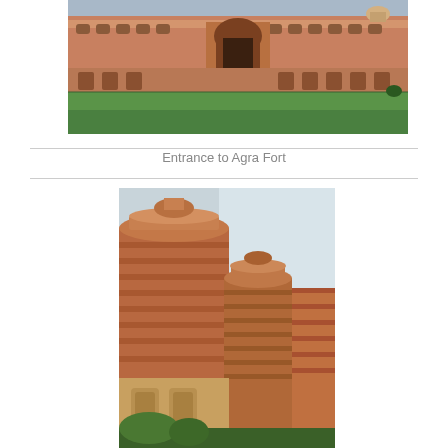[Figure (photo): Photograph of the entrance facade of Agra Fort, showing a wide red sandstone building with ornate archways, a large central gateway, green lawn in the foreground, overcast sky background]
Entrance to Agra Fort
[Figure (photo): Close-up photograph of Agra Fort towers, showing tall red sandstone cylindrical bastions with decorative horizontal banding, balconies, and domed tops, pale sky in background, green foliage at bottom]